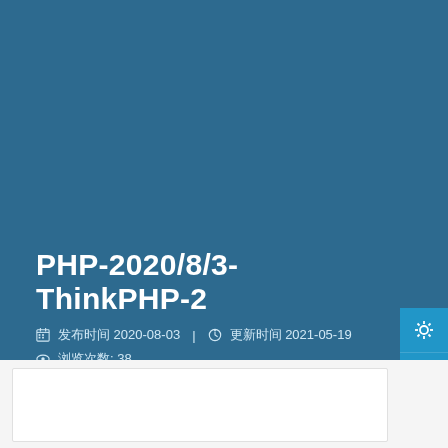PHP-2020/8/3-ThinkPHP-2
📅 发布时间 2020-08-03 | 🕐 更新时间 2021-05-19
👁 浏览次数: 38